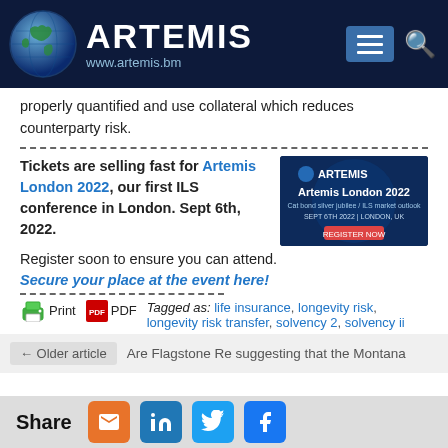ARTEMIS | www.artemis.bm
properly quantified and use collateral which reduces counterparty risk.
Tickets are selling fast for Artemis London 2022, our first ILS conference in London. Sept 6th, 2022.
[Figure (screenshot): Artemis London 2022 conference banner image]
Register soon to ensure you can attend.
Secure your place at the event here!
Tagged as: life insurance, longevity risk, longevity risk transfer, solvency 2, solvency ii
← Older article   Are Flagstone Re suggesting that the Montana
Share